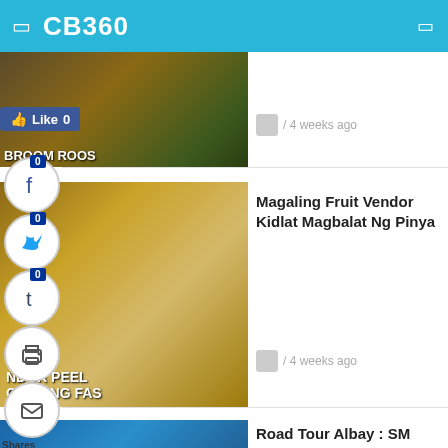CB360
[Figure (screenshot): Partial thumbnail of article about broom roost, partially visible at top]
/ 4 weeks ago
[Figure (screenshot): Thumbnail showing text: VENDOR PEEL IGHTNING FAS - fruit vendor peeling pineapple lightning fast]
Magaling Fruit Vendor Kidlat Magbalat Ng Pinya
/ 4 weeks ago
[Figure (screenshot): Thumbnail showing text: ROAD TOUR AL LEGAZPI TO DAR - Road Tour Albay SM City]
Road Tour Albay : SM City Legazpi To Daraga
/ 4 weeks ago
[Figure (screenshot): Partial blue thumbnail for volcano article]
A Front Seat View Of Volcano